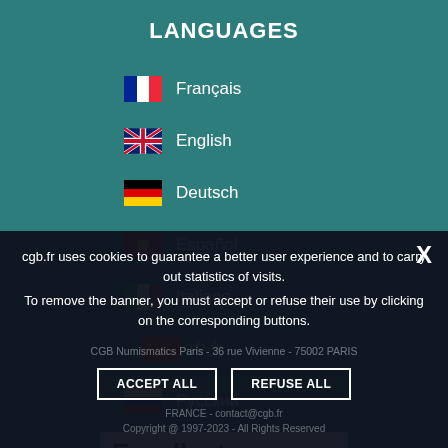LANGUAGES
🇫🇷 Français
🇬🇧 English
🇩🇪 Deutsch
🇪🇸 Español
🇮🇹 Italiano
🇨🇳 中文
🇷🇺 Русский
[Figure (logo): Trustpilot Excellent badge with star rating]
cgb.fr uses cookies to guarantee a better user experience and to carry out statistics of visits.
To remove the banner, you must accept or refuse their use by clicking on the corresponding buttons.
CGB Numismatics Paris - 36 rue Vivienne - 75002 PARIS
FRANCE - contact@cgb.fr
Copyright @ 1997-2023 - All Rights Reserved
ACCEPT ALL
REFUSE ALL